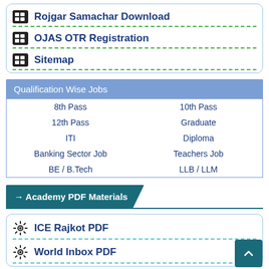Rojgar Samachar Download
OJAS OTR Registration
Sitemap
Qualification Wise Jobs
| 8th Pass | 10th Pass |
| 12th Pass | Graduate |
| ITI | Diploma |
| Banking Sector Job | Teachers Job |
| BE / B.Tech | LLB / LLM |
→ Academy PDF Materials
ICE Rajkot PDF
World Inbox PDF